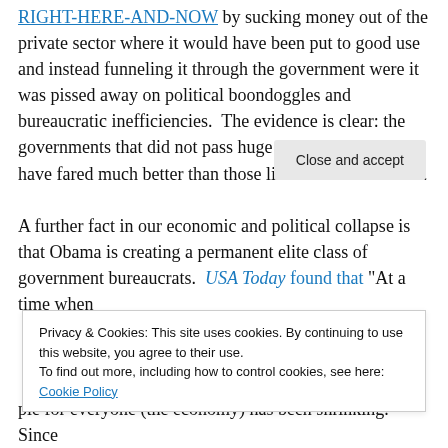RIGHT-HERE-AND-NOW by sucking money out of the private sector where it would have been put to good use and instead funneling it through the government were it was pissed away on political boondoggles and bureaucratic inefficiencies.  The evidence is clear: the governments that did not pass huge stimulus packages have fared much better than those like the US which did.
A further fact in our economic and political collapse is that Obama is creating a permanent elite class of government bureaucrats.  USA Today found that “At a time when
Privacy & Cookies: This site uses cookies. By continuing to use this website, you agree to their use.
To find out more, including how to control cookies, see here: Cookie Policy
pie for everyone (the economy) has been shrinking.  Since